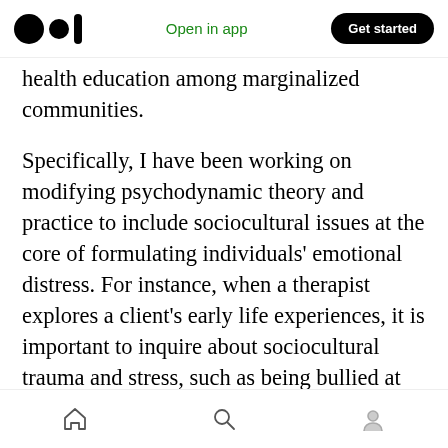Medium logo | Open in app | Get started
health education among marginalized communities.
Specifically, I have been working on modifying psychodynamic theory and practice to include sociocultural issues at the core of formulating individuals' emotional distress. For instance, when a therapist explores a client's early life experiences, it is important to inquire about sociocultural trauma and stress, such as being bullied at school based on one's race, religion, gender, or sexual orientation. If we only ask questions about a person's relationships within
Home | Search | Profile